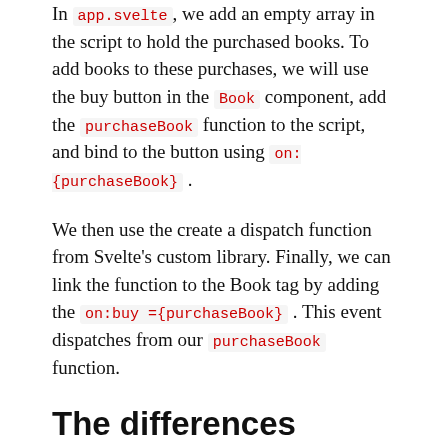In app.svelte, we add an empty array in the script to hold the purchased books. To add books to these purchases, we will use the buy button in the Book component, add the purchaseBook function to the script, and bind to the button using on:{purchaseBook} .
We then use the create a dispatch function from Svelte's custom library. Finally, we can link the function to the Book tag by adding the on:buy ={purchaseBook} . This event dispatches from our purchaseBook function.
The differences between Svelte and React